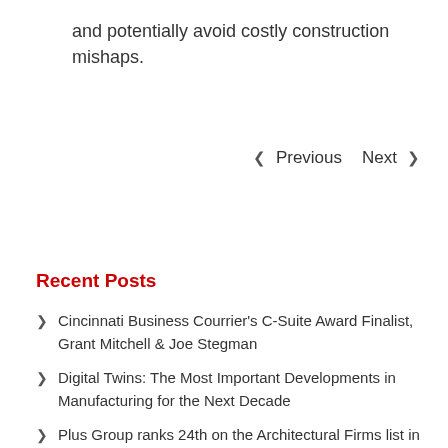and potentially avoid costly construction mishaps.
< Previous   Next >
Recent Posts
Cincinnati Business Courrier's C-Suite Award Finalist, Grant Mitchell & Joe Stegman
Digital Twins: The Most Important Developments in Manufacturing for the Next Decade
Plus Group ranks 24th on the Architectural Firms list in the Cincinnati Business Courier